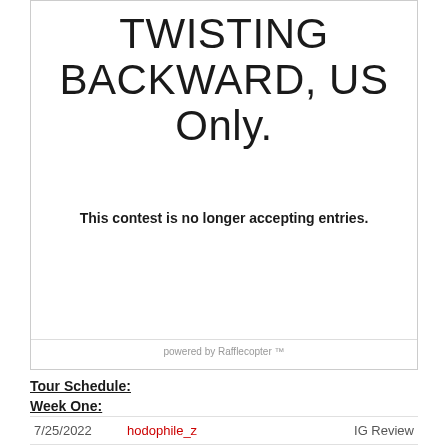TWISTING BACKWARD, US Only.
This contest is no longer accepting entries.
powered by Rafflecopter
Tour Schedule:
Week One:
| Date | Blog | Type |
| --- | --- | --- |
| 7/25/2022 | hodophile_z | IG Review |
| 7/25/2022 | #BRVL Book Review Virginia Lee Blog | Excerpt |
| 7/26/2022 | The Paperback Princess | Review/IG Post |